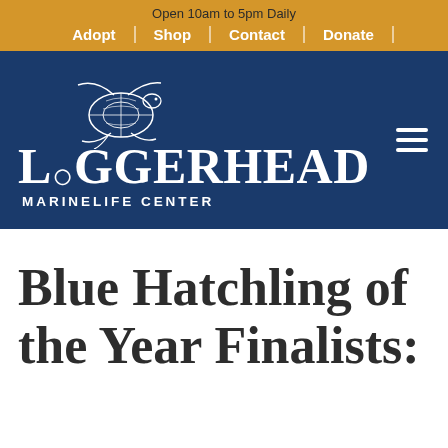Open 10am to 5pm Daily
Adopt | Shop | Contact | Donate
[Figure (logo): Loggerhead Marinelife Center logo with sea turtle illustration above the organization name in white on navy background]
Blue Hatchling of the Year Finalists: